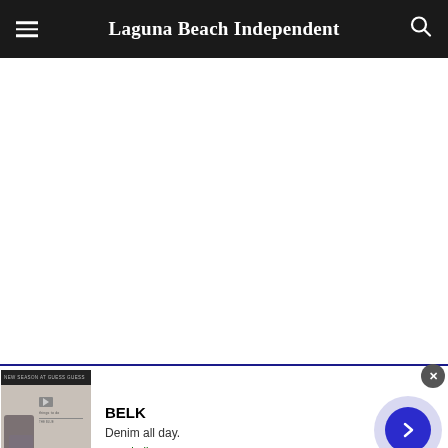Laguna Beach Independent
[Figure (screenshot): Advertisement for Belk featuring a thumbnail image of women in denim, brand name BELK, tagline 'Denim all day.', website www.belk.com, and a blue circular arrow button]
BELK
Denim all day.
www.belk.com